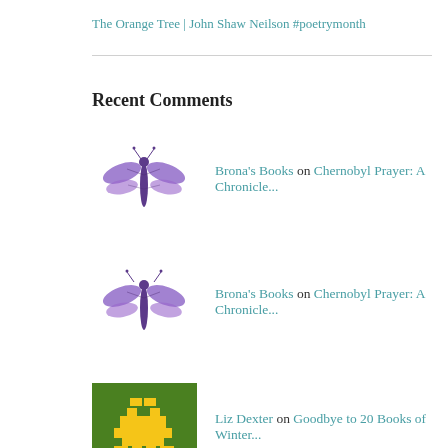The Orange Tree | John Shaw Neilson #poetrymonth
Recent Comments
Brona's Books on Chernobyl Prayer: A Chronicle...
Brona's Books on Chernobyl Prayer: A Chronicle...
Liz Dexter on Goodbye to 20 Books of Winter...
volatilemuse on Chernobyl Prayer: A Chronicle...
Marianne Maurer on Chernobyl Prayer: A Chronicle...